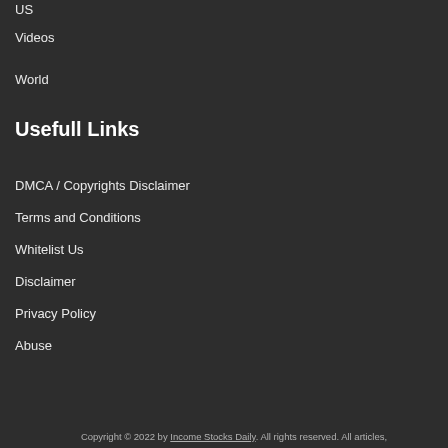US
Videos
World
Usefull Links
DMCA / Copyrights Disclaimer
Terms and Conditions
Whitelist Us
Disclaimer
Privacy Policy
Abuse
Copyright © 2022 by Income Stocks Daily. All rights reserved. All articles,